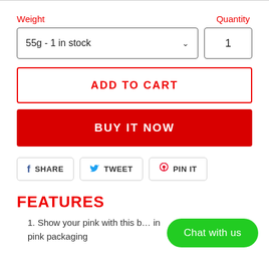Weight
Quantity
55g - 1 in stock
1
ADD TO CART
BUY IT NOW
SHARE
TWEET
PIN IT
FEATURES
1. Show your pink with this b… in pink packaging
Chat with us